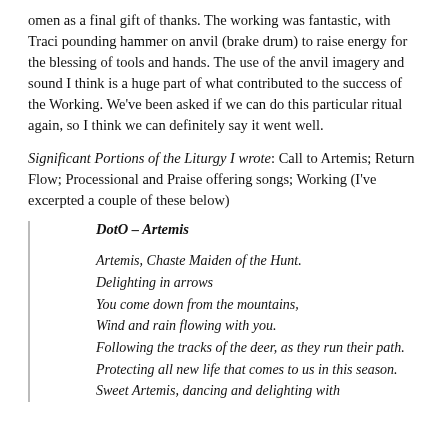omen as a final gift of thanks.  The working was fantastic, with Traci pounding hammer on anvil (brake drum) to raise energy for the blessing of tools and hands.   The use of the anvil imagery and sound I think is a huge part of what contributed to the success of the Working. We've been asked if we can do this particular ritual again, so I think we can definitely say it went well.
Significant Portions of the Liturgy I wrote:  Call to Artemis; Return Flow; Processional and Praise offering songs; Working (I've excerpted a couple of these below)
DotO – Artemis

Artemis, Chaste Maiden of the Hunt.
Delighting in arrows
You come down from the mountains,
Wind and rain flowing with you.
Following the tracks of the deer, as they run their path.
Protecting all new life that comes to us in this season.
Sweet Artemis, dancing and delighting with